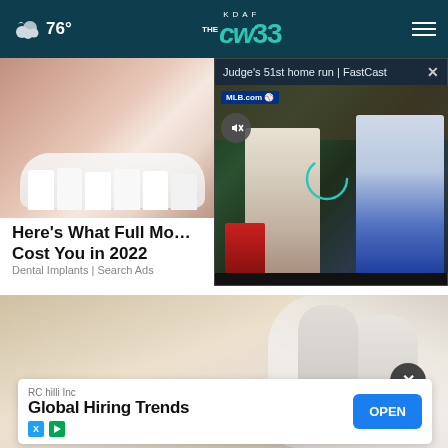76° KDAF CW33
[Figure (screenshot): Video popup overlay showing MLB.com FastCast with text 'Judge's 51st home run | FastCast' and baseball players]
[Figure (photo): Close-up photo of human mouth/teeth and skin (dental implants advertisement)]
Here's What Full Mo… Cost You in 2022
Dental Implants | Search Ads
[Figure (photo): Close-up photo of human foot/toes being touched, background of another advertisement]
RC hilli Inc
Global Hiring Trends
OPEN